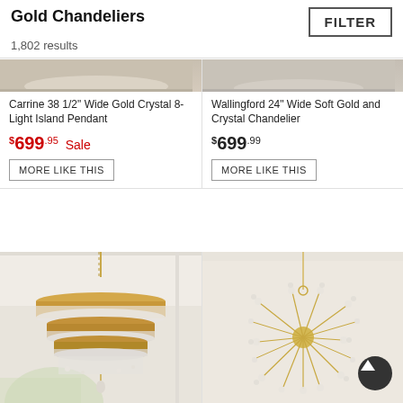Gold Chandeliers
1,802 results
FILTER
[Figure (photo): Partial top view of a gold crystal island pendant chandelier (Carrine 38 1/2 Wide) over neutral background]
Carrine 38 1/2" Wide Gold Crystal 8-Light Island Pendant
$699.95 Sale
MORE LIKE THIS
[Figure (photo): Partial top view of a soft gold and crystal chandelier (Wallingford 24 Wide) over neutral background]
Wallingford 24" Wide Soft Gold and Crystal Chandelier
$699.99
MORE LIKE THIS
[Figure (photo): Large gold and crystal tiered drum chandelier (Carrine) hanging in a bright interior with arched window]
[Figure (photo): Sputnik-style crystal and gold chandelier hanging against a neutral beige background, with a scroll-to-top button overlay]